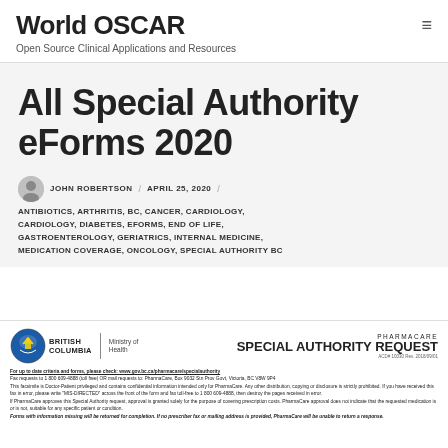World OSCAR — Open Source Clinical Applications and Resources
All Special Authority eForms 2020
JOHN ROBERTSON / APRIL 25, 2020 /
ANTIBIOTICS, ARTHRITIS, BC, CANCER, CARDIOLOGY, CARDIOLOGY, DIABETES, EFORMS, END OF LIFE, GASTROENTEROLOGY, GERIATRICS, INTERNAL MEDICINE, MEDICATION COVERAGE, ONCOLOGY, SPECIAL AUTHORITY BC
[Figure (screenshot): PharmaCare Special Authority Request form header from British Columbia Ministry of Health, showing BC logo, ministry name, 'PHARMACARE SPECIAL AUTHORITY REQUEST' title, form number, and several lines of small print instructions about submitting requests, fax numbers, confidentiality notice, and approval conditions.]